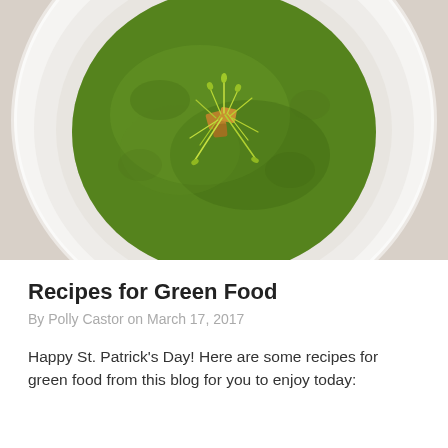[Figure (photo): Overhead view of a white bowl containing bright green soup (pea or spinach), garnished with croutons and green pea shoots/microgreens in the center.]
Recipes for Green Food
By Polly Castor on March 17, 2017
Happy St. Patrick's Day! Here are some recipes for green food from this blog for you to enjoy today: